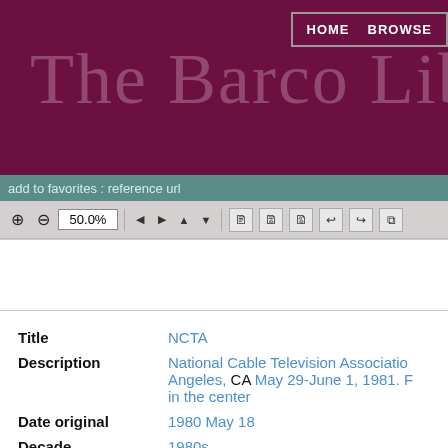HOME  BROWSE
The Barco Lib
add to favorites : reference url
[Figure (screenshot): Toolbar with zoom controls at 50.0%, navigation arrows, and document action icons]
| Field | Value |
| --- | --- |
| Title | NCTA |
| Description | National Cable Television Association Los Angeles, CA May 29-June 1, 1981. ... in the center |
| Date original | 1980 May 18 |
| Decade | 1980s |
| Subjects | Cable television--History--Photographs
National Cable Television Association |